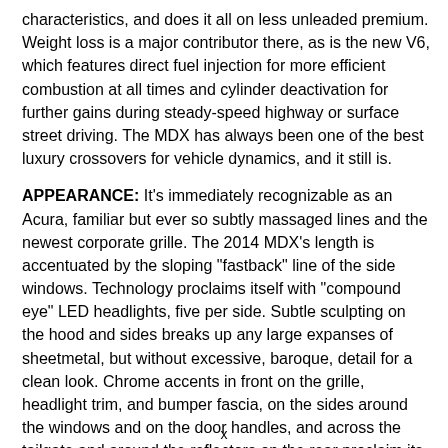characteristics, and does it all on less unleaded premium. Weight loss is a major contributor there, as is the new V6, which features direct fuel injection for more efficient combustion at all times and cylinder deactivation for further gains during steady-speed highway or surface street driving. The MDX has always been one of the best luxury crossovers for vehicle dynamics, and it still is.
APPEARANCE: It's immediately recognizable as an Acura, familiar but ever so subtly massaged lines and the newest corporate grille. The 2014 MDX's length is accentuated by the sloping "fastback" line of the side windows. Technology proclaims itself with "compound eye" LED headlights, five per side. Subtle sculpting on the hood and sides breaks up any large expanses of sheetmetal, but without excessive, baroque, detail for a clean look. Chrome accents in front on the grille, headlight trim, and bumper fascia, on the sides around the windows and on the door handles, and across the tailgate and around the reflectors on the rear proclaim its luxury status. Interestingly, those reflectors replace the
x